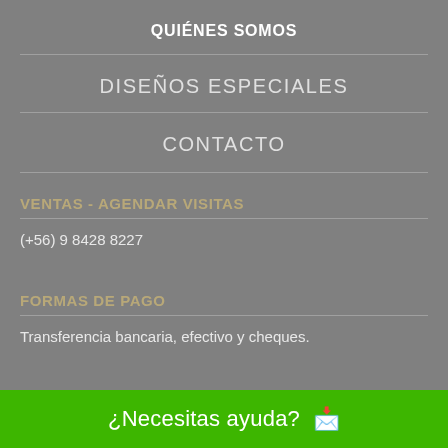QUIÉNES SOMOS
DISEÑOS ESPECIALES
CONTACTO
VENTAS - AGENDAR VISITAS
(+56) 9 8428 8227
FORMAS DE PAGO
Transferencia bancaria, efectivo y cheques.
¿Necesitas ayuda? 🗨